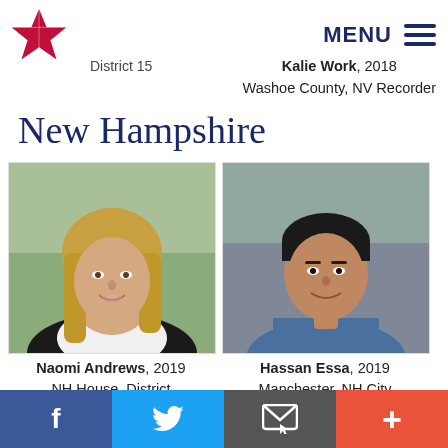MENU
District 15
Kalie Work, 2018
Washoe County, NV Recorder
New Hampshire
[Figure (photo): Headshot of Naomi Andrews, a woman with long blonde hair, smiling outdoors]
Naomi Andrews, 2019
NH House, District Rockingham 9
[Figure (photo): Headshot of Hassan Essa, a young man smiling outdoors]
Hassan Essa, 2019
Manchester, NH City Council, Ward 11
[Figure (photo): Partial headshot of a third candidate, partially visible at bottom of page]